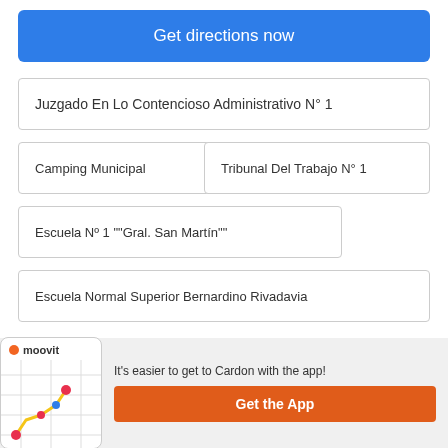Get directions now
Juzgado En Lo Contencioso Administrativo N° 1
Camping Municipal
Tribunal Del Trabajo N° 1
Escuela Nº 1 ""Gral. San Martín""
Escuela Normal Superior Bernardino Rivadavia
Public transit lines with stations closest to Cardon
It's easier to get to Cardon with the app!
Get the App